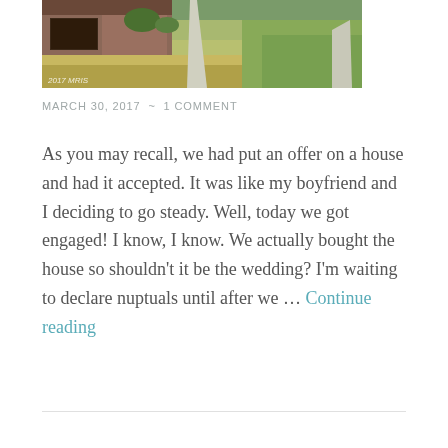[Figure (photo): Exterior photo of a house with a concrete driveway/walkway running through a dry brownish-green lawn. A brick house with a garage is visible at the top left. Watermark '2017 MRIS' in bottom left corner.]
MARCH 30, 2017  ~  1 COMMENT
As you may recall, we had put an offer on a house and had it accepted. It was like my boyfriend and I deciding to go steady. Well, today we got engaged! I know, I know. We actually bought the house so shouldn't it be the wedding? I'm waiting to declare nuptuals until after we … Continue reading